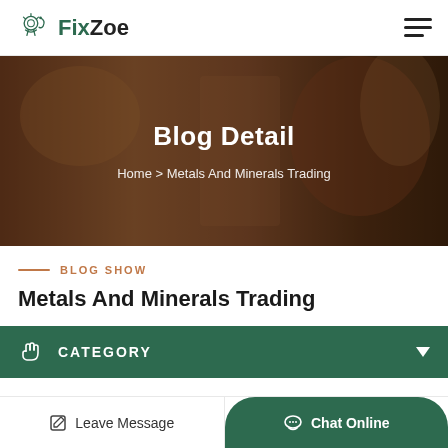FixZoe
[Figure (screenshot): Hero banner with blurred industrial/workshop background, overlaid with text 'Blog Detail' and breadcrumb 'Home > Metals And Minerals Trading']
Blog Detail
Home > Metals And Minerals Trading
BLOG SHOW
Metals And Minerals Trading
CATEGORY
Leave Message
Chat Online